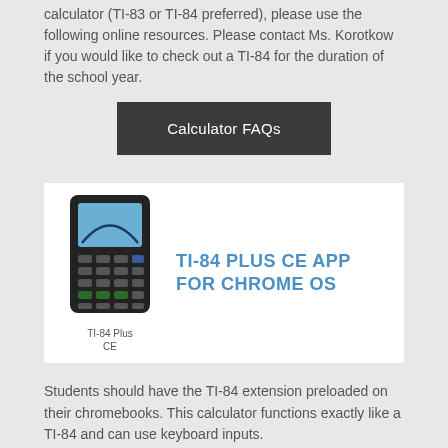calculator (TI-83 or TI-84 preferred), please use the following online resources. Please contact Ms. Korotkow if you would like to check out a TI-84 for the duration of the school year.
[Figure (other): Dark grey button with text 'Calculator FAQs']
[Figure (screenshot): Banner image showing a TI-84 Plus CE calculator on the left with label 'TI-84 Plus CE' and large text 'TI-84 PLUS CE APP FOR CHROME OS' in blue on a white background]
Students should have the TI-84 extension preloaded on their chromebooks. This calculator functions exactly like a TI-84 and can use keyboard inputs.